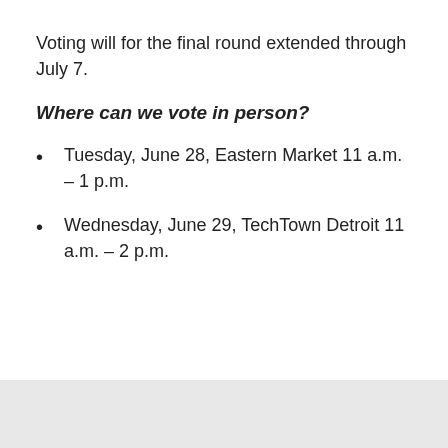Voting will for the final round extended through July 7.
Where can we vote in person?
Tuesday, June 28, Eastern Market 11 a.m. – 1 p.m.
Wednesday, June 29, TechTown Detroit 11 a.m. – 2 p.m.